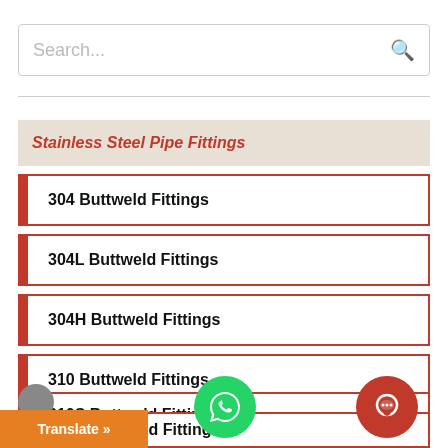Search...
Stainless Steel Pipe Fittings
304 Buttweld Fittings
304L Buttweld Fittings
304H Buttweld Fittings
310 Buttweld Fittings
310S Buttweld Fittings
310H Buttweld Fittings